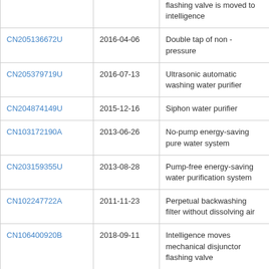| Patent ID | Date | Description |
| --- | --- | --- |
|  |  | flashing valve is moved to intelligence |
| CN205136672U | 2016-04-06 | Double tap of non - pressure |
| CN205379719U | 2016-07-13 | Ultrasonic automatic washing water purifier |
| CN204874149U | 2015-12-16 | Siphon water purifier |
| CN103172190A | 2013-06-26 | No-pump energy-saving pure water system |
| CN203159355U | 2013-08-28 | Pump-free energy-saving water purification system |
| CN102247722A | 2011-11-23 | Perpetual backwashing filter without dissolving air |
| CN106400920B | 2018-09-11 | Intelligence moves mechanical disjunctor flashing valve |
| CN207056340U | 2018-03-02 | A kind of filter core assembly |